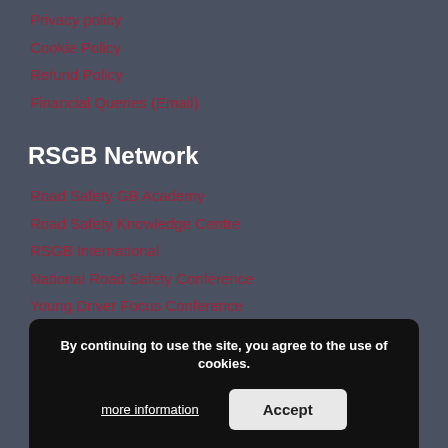Privacy policy
Cookie Policy
Refund Policy
Financial Queries (Email)
RSGB Network
Road Safety GB Academy
Road Safety Knowledge Centre
RSGB International
National Road Safety Conference
Young Driver Focus Conference
Joining the Dots Conference
Older Road User Conference
Company Information
Company Name: RSGB Limited
Company No. 8405185
The company is limited by guarantee
Registered within England
Registered cha...
By continuing to use the site, you agree to the use of cookies. more information  Accept